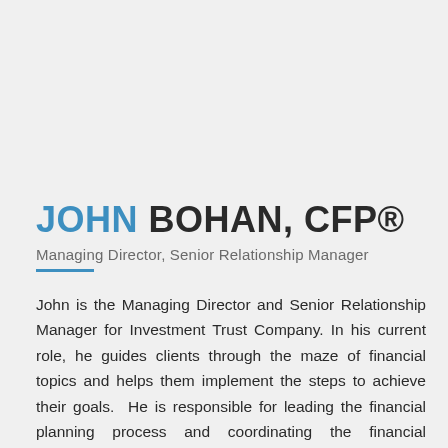JOHN BOHAN, CFP®
Managing Director, Senior Relationship Manager
John is the Managing Director and Senior Relationship Manager for Investment Trust Company. In his current role, he guides clients through the maze of financial topics and helps them implement the steps to achieve their goals.  He is responsible for leading the financial planning process and coordinating the financial technology to create a seamless client experience. His specific expertise involves investment